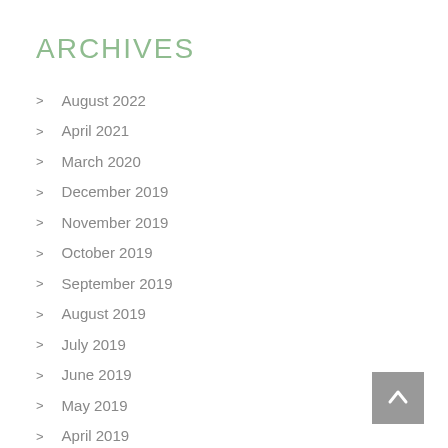ARCHIVES
August 2022
April 2021
March 2020
December 2019
November 2019
October 2019
September 2019
August 2019
July 2019
June 2019
May 2019
April 2019